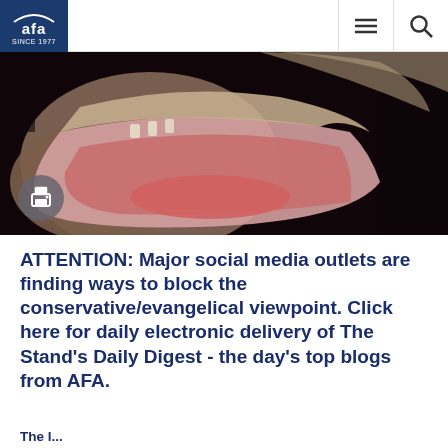AFA since 1977 | menu | search
[Figure (photo): Close-up photograph of a frog with its mouth wide open, showing pink interior mouth and tongue, against a dark background, with mottled brown/tan skin texture.]
ATTENTION: Major social media outlets are finding ways to block the conservative/evangelical viewpoint. Click here for daily electronic delivery of The Stand's Daily Digest - the day's top blogs from AFA.
The I...